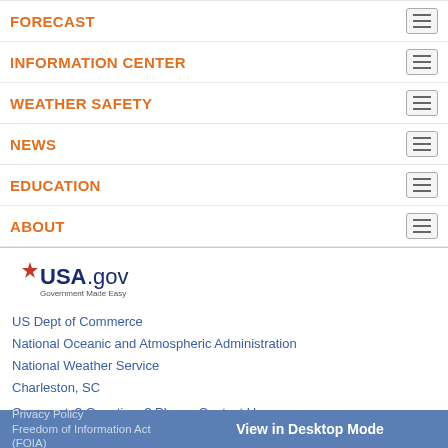FORECAST
INFORMATION CENTER
WEATHER SAFETY
NEWS
EDUCATION
ABOUT
[Figure (logo): USA.gov - Government Made Easy logo]
US Dept of Commerce
National Oceanic and Atmospheric Administration
National Weather Service
Charleston, SC
Comments? Questions? Please Contact Us.
Disclaimer
Information Quality
Help
Glossary
Privacy Policy    View in Desktop Mode    Freedom of Information Act (FOIA)